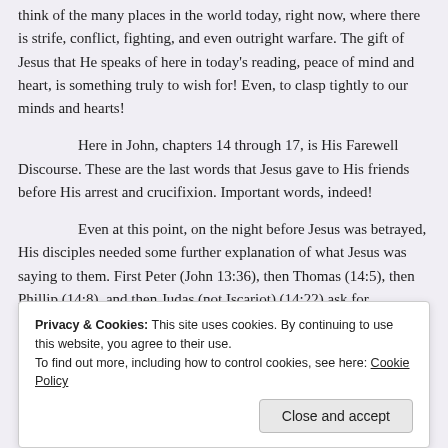think of the many places in the world today, right now, where there is strife, conflict, fighting, and even outright warfare. The gift of Jesus that He speaks of here in today's reading, peace of mind and heart, is something truly to wish for! Even, to clasp tightly to our minds and hearts!
Here in John, chapters 14 through 17, is His Farewell Discourse. These are the last words that Jesus gave to His friends before His arrest and crucifixion. Important words, indeed!
Even at this point, on the night before Jesus was betrayed, His disciples needed some further explanation of what Jesus was saying to them. First Peter (John 13:36), then Thomas (14:5), then Phillip (14:8), and then Judas (not Iscariot) (14:22) ask for clarification about exactly what Jesus is telling them. Jesus packs a whole lot into just a few short verses.
Privacy & Cookies: This site uses cookies. By continuing to use this website, you agree to their use. To find out more, including how to control cookies, see here: Cookie Policy
Close and accept